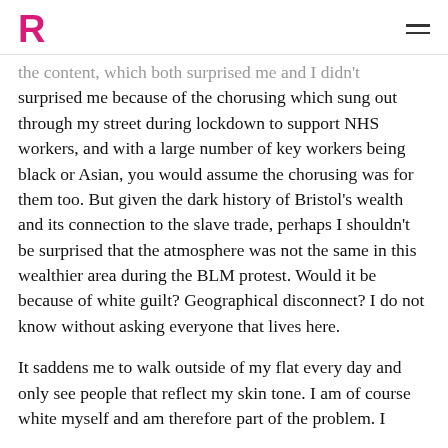R [logo] [hamburger menu]
...the content, which both surprised me and I didn't surprised me because of the chorusing which sung out through my street during lockdown to support NHS workers, and with a large number of key workers being black or Asian, you would assume the chorusing was for them too. But given the dark history of Bristol's wealth and its connection to the slave trade, perhaps I shouldn't be surprised that the atmosphere was not the same in this wealthier area during the BLM protest. Would it be because of white guilt? Geographical disconnect? I do not know without asking everyone that lives here.
It saddens me to walk outside of my flat every day and only see people that reflect my skin tone. I am of course white myself and am therefore part of the problem. I